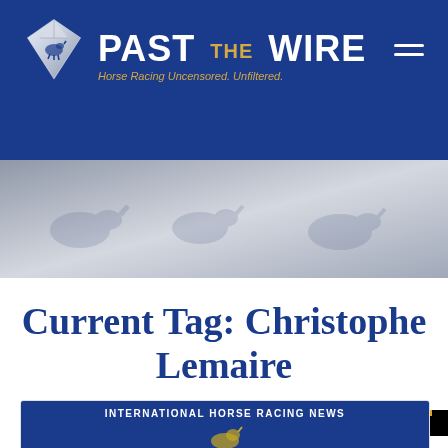[Figure (logo): Past The Wire horse racing website header with diamond logo, site name, and tagline 'Horse Racing Uncensored. Unfiltered.' on dark blue background]
[Figure (infographic): Into Mischief advertisement banner: black background with 'INTO Mischief' text in white/purple cursive, tagline 'The Modern-Day Northern Dancer.' in white, and a colorful four-square icon on right]
Current Tag: Christophe Lemaire
[Figure (screenshot): Partial article card showing 'INTERNATIONAL HORSE RACING NEWS' label bar in navy blue with white text, and the top of a horse racing graphic below]